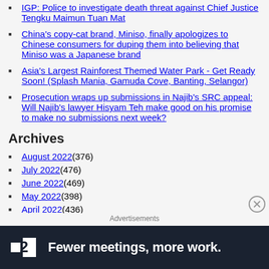IGP: Police to investigate death threat against Chief Justice Tengku Maimun Tuan Mat
China's copy-cat brand, Miniso, finally apologizes to Chinese consumers for duping them into believing that Miniso was a Japanese brand
Asia's Largest Rainforest Themed Water Park - Get Ready Soon! (Splash Mania, Gamuda Cove, Banting, Selangor)
Prosecution wraps up submissions in Najib's SRC appeal: Will Najib's lawyer Hisyam Teh make good on his promise to make no submissions next week?
Archives
August 2022 (376)
July 2022 (476)
June 2022 (469)
May 2022 (398)
April 2022 (436)
Advertisements
[Figure (screenshot): Dark advertisement banner for a product called '2' with the tagline 'Fewer meetings, more work.']